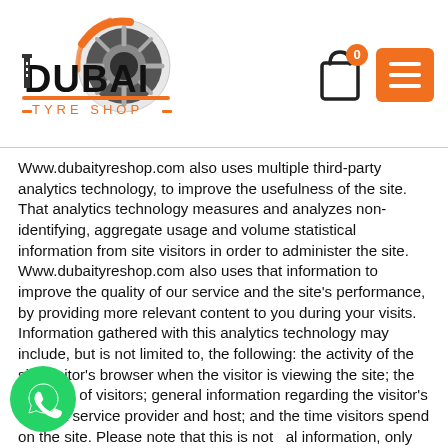[Figure (logo): Dubai Tyre Shop logo with orange tire graphic and text]
Www.dubaityreshop.com also uses multiple third-party analytics technology, to improve the usefulness of the site. That analytics technology measures and analyzes non-identifying, aggregate usage and volume statistical information from site visitors in order to administer the site. Www.dubaityreshop.com also uses that information to improve the quality of our service and the site's performance, by providing more relevant content to you during your visits. Information gathered with this analytics technology may include, but is not limited to, the following: the activity of the site visitor's browser when the visitor is viewing the site; the site path of visitors; general information regarding the visitor's internet service provider and host; and the time visitors spend on the site. Please note that this is not personal information, only general summaries of our visitors' use of the site. When you interact with the site, we strive to make that experience easy, meaningful, and relevant.